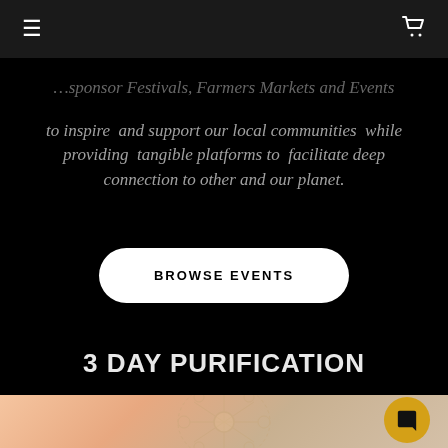Navigation bar with hamburger menu and cart icon
...sponsor Festivals, Farmers Markets and Events to inspire and support our local communities while providing tangible platforms to facilitate deep connection to other and our planet.
BROWSE EVENTS
3 DAY PURIFICATION
[Figure (illustration): Alchemical or geometric sacred symbol diagram with circular nodes and connecting lines, overlaid on a warm peachy-orange gradient background, with a golden chat bubble icon in the bottom right corner.]